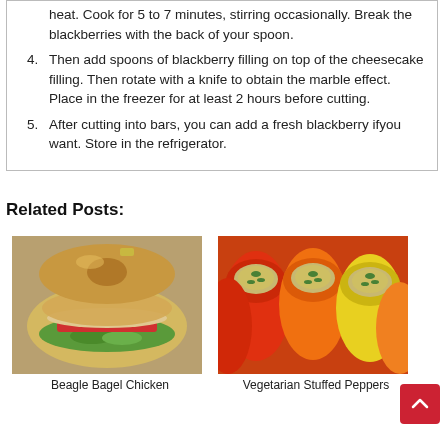heat. Cook for 5 to 7 minutes, stirring occasionally. Break the blackberries with the back of your spoon.
4. Then add spoons of blackberry filling on top of the cheesecake filling. Then rotate with a knife to obtain the marble effect. Place in the freezer for at least 2 hours before cutting.
5. After cutting into bars, you can add a fresh blackberry ifyou want. Store in the refrigerator.
Related Posts:
[Figure (photo): Bagel chicken sandwich with lettuce and tomato]
Beagle Bagel Chicken
[Figure (photo): Colorful stuffed bell peppers filled with grains and herbs]
Vegetarian Stuffed Peppers